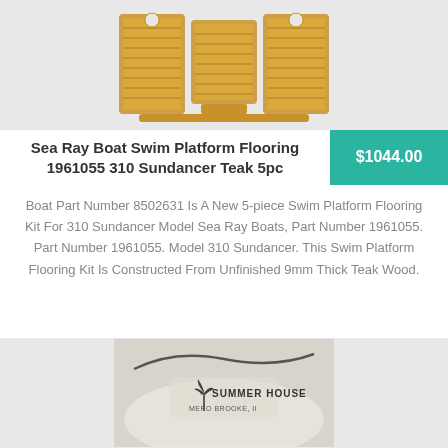[Figure (photo): Teak wood swim platform flooring kit pieces arranged showing 5-piece set layout on light grey background]
Sea Ray Boat Swim Platform Flooring 1961055 310 Sundancer Teak 5pc
$1044.00
Boat Part Number 8502631 Is A New 5-piece Swim Platform Flooring Kit For 310 Sundancer Model Sea Ray Boats, Part Number 1961055. Part Number 1961055. Model 310 Sundancer. This Swim Platform Flooring Kit Is Constructed From Unfinished 9mm Thick Teak Wood.
[Figure (photo): Photo of a boat showing Summer House branding on the hull, cream/white colored boat with rope visible]